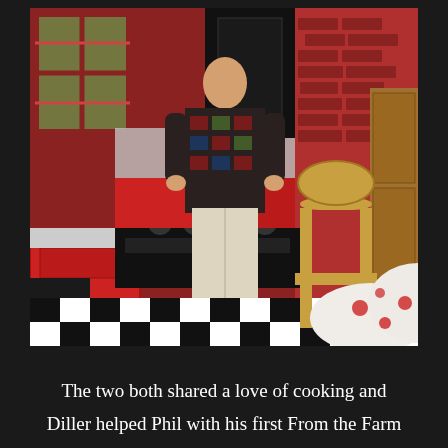[Figure (photo): A man in a patterned shirt and white pants stands in a kitchen with red cabinets, red brick walls, black appliances, a checkerboard black and white tile floor, and a wooden chair and floral tablecloth in the foreground.]
The two both shared a love of cooking and Diller helped Phil with his first From the Farm